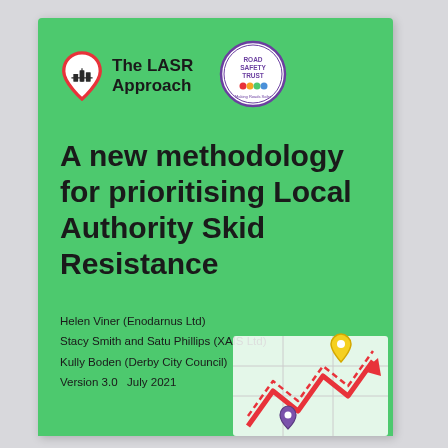[Figure (logo): The LASR Approach logo — a map pin icon with buildings inside, red border, beside bold text 'The LASR Approach']
[Figure (logo): Road Safety Trust circular logo — purple circle with 'ROAD SAFETY TRUST' text, coloured dots, 'Making Roads Safer' tagline]
A new methodology for prioritising Local Authority Skid Resistance
Helen Viner (Enodarnus Ltd)
Stacy Smith and Satu Phillips (XAIS Ltd)
Kully Boden (Derby City Council)
Version 3.0   July 2021
[Figure (illustration): Decorative map/navigation illustration bottom right: stylised white map with red chevron roads, yellow location pin, purple location pin, red arrow]